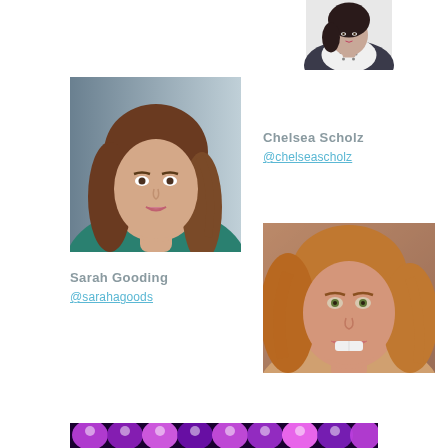[Figure (photo): Partial photo of a woman at the top right of the page (Chelsea Scholz), showing top of head with dark short hair, wearing a patterned blouse and dark jacket]
[Figure (photo): Photo of Chelsea Scholz, a young woman with long brown hair wearing a teal top, photographed from the shoulders up against a light background]
Chelsea Scholz
@chelseascholz
Sarah Gooding
@sarahagoods
[Figure (photo): Photo of Sarah Gooding, a woman with long reddish-blonde hair, smiling warmly at the camera]
[Figure (photo): Partial photo at the bottom of the page showing a row of purple/violet stage lights or keyboard illuminated with lighting]